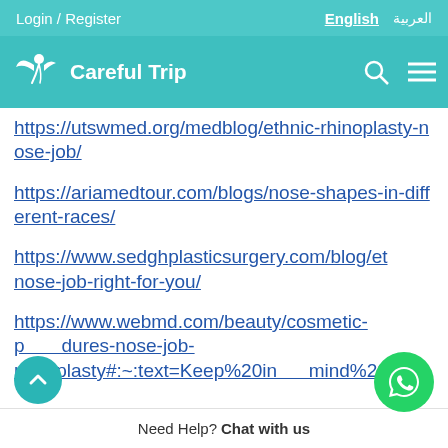Login / Register   English   العربية
[Figure (logo): Careful Trip logo with bird/wing icon on teal navigation bar]
https://utswmed.org/medblog/ethnic-rhinoplasty-nose-job/
https://ariamedtour.com/blogs/nose-shapes-in-different-races/
https://www.sedghplasticsurgery.com/blog/et nose-job-right-for-you/
https://www.webmd.com/beauty/cosmetic-procedures-nose-job-rhinoplasty#:~:text=Keep%20in mind%20th
Need Help? Chat with us